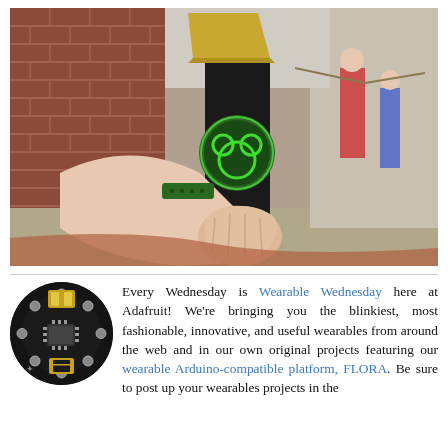[Figure (photo): A person wearing a green wristband (MagicBand) tapping a black pillar-mounted NFC reader with a glowing green Mickey Mouse logo at what appears to be a Disney theme park. Brick wall in background, other park visitors visible.]
[Figure (photo): Circular black PCB (Adafruit FLORA wearable Arduino-compatible board) with golden USB connector, microcontroller chip, and circular pads around the edge.]
Every Wednesday is Wearable Wednesday here at Adafruit! We're bringing you the blinkiest, most fashionable, innovative, and useful wearables from around the web and in our own original projects featuring our wearable Arduino-compatible platform, FLORA. Be sure to post up your wearables projects in the